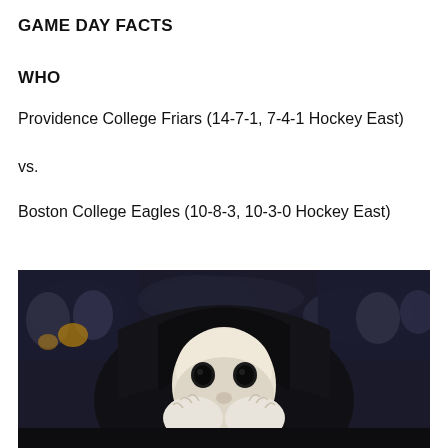GAME DAY FACTS
WHO
Providence College Friars (14-7-1, 7-4-1 Hockey East)
vs.
Boston College Eagles (10-8-3, 10-3-0 Hockey East)
[Figure (photo): A mascot in a black hooded robe with a white mask face, covering its face with white-gloved hands, with a blurred crowd in the background.]